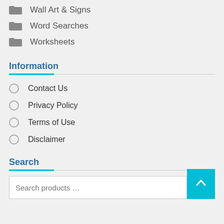Wall Art & Signs
Word Searches
Worksheets
Information
Contact Us
Privacy Policy
Terms of Use
Disclaimer
Search